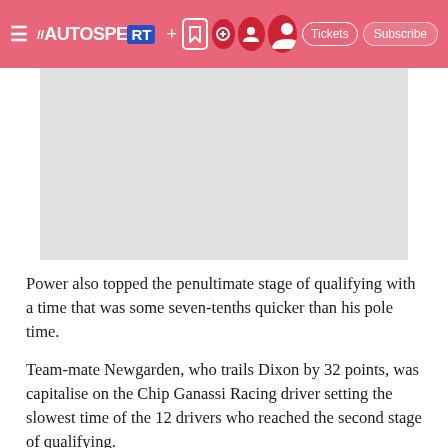AUTOSPORT TV + Tickets Subscribe
[Figure (other): Advertisement placeholder image, light grey background]
Power also topped the penultimate stage of qualifying with a time that was some seven-tenths quicker than his pole time.
Team-mate Newgarden, who trails Dixon by 32 points, was capitalise on the Chip Ganassi Racing driver setting the slowest time of the 12 drivers who reached the second stage of qualifying.
However, he was boosted one place on the grid from ninth to eighth after a spin from team-mate Simon Pagenaud, and that basically then the grid becomes...